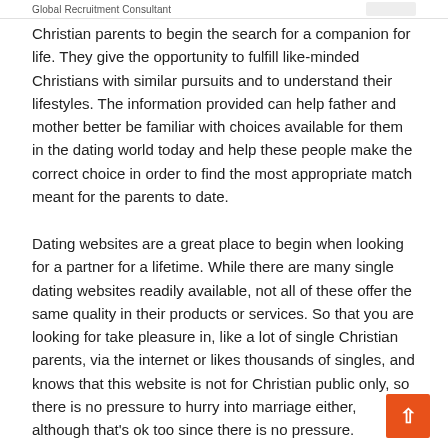Global Recruitment Consultant
Christian parents to begin the search for a companion for life. They give the opportunity to fulfill like-minded Christians with similar pursuits and to understand their lifestyles. The information provided can help father and mother better be familiar with choices available for them in the dating world today and help these people make the correct choice in order to find the most appropriate match meant for the parents to date.
Dating websites are a great place to begin when looking for a partner for a lifetime. While there are many single dating websites readily available, not all of these offer the same quality in their products or services. So that you are looking for take pleasure in, like a lot of single Christian parents, via the internet or likes thousands of singles, and knows that this website is not for Christian public only, so there is no pressure to hurry into marriage either, although that's ok too since there is no pressure.